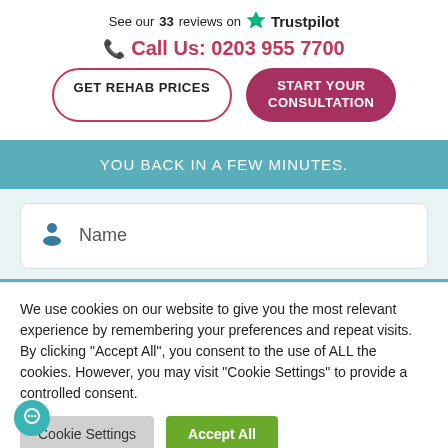See our 33 reviews on Trustpilot
Call Us: 0203 955 7700
GET REHAB PRICES
START YOUR CONSULTATION
YOU BACK IN A FEW MINUTES.
Name
We use cookies on our website to give you the most relevant experience by remembering your preferences and repeat visits. By clicking "Accept All", you consent to the use of ALL the cookies. However, you may visit "Cookie Settings" to provide a controlled consent.
Cookie Settings
Accept All